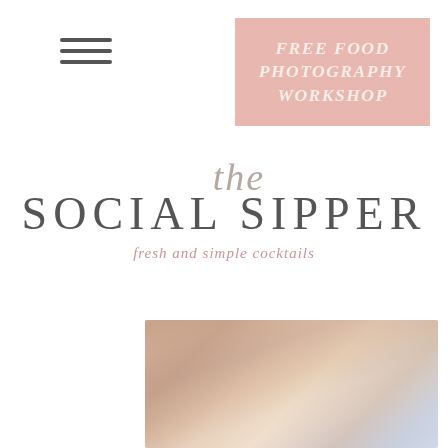[Figure (logo): Hamburger/navigation menu icon with three horizontal lines]
[Figure (infographic): Pink banner in top-right corner with text FREE FOOD PHOTOGRAPHY WORKSHOP in italic white letters]
the Social Sipper
fresh and simple cocktails
[Figure (photo): Blurred close-up photograph showing warm-toned abstract background, appears to be a soft-focus cocktail or food photography scene]